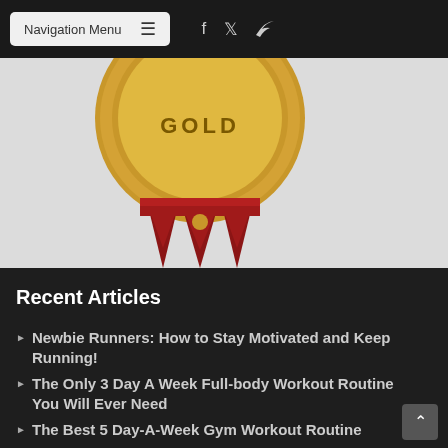Navigation Menu
[Figure (illustration): Gold medal/seal with red ribbon hanging below, partially cropped at top, on a light gray background]
Recent Articles
Newbie Runners: How to Stay Motivated and Keep Running!
The Only 3 Day A Week Full-body Workout Routine You Will Ever Need
The Best 5 Day-A-Week Gym Workout Routine
Shoulder Press – A Guide and Tips